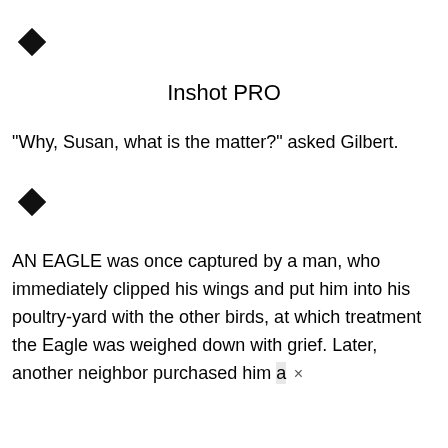[Figure (other): Black diamond/rhombus icon in top-left corner]
Inshot PRO
"Why, Susan, what is the matter?" asked Gilbert.
[Figure (other): Black diamond/rhombus icon]
AN EAGLE was once captured by a man, who immediately clipped his wings and put him into his poultry-yard with the other birds, at which treatment the Eagle was weighed down with grief. Later, another neighbor purchased him a ×